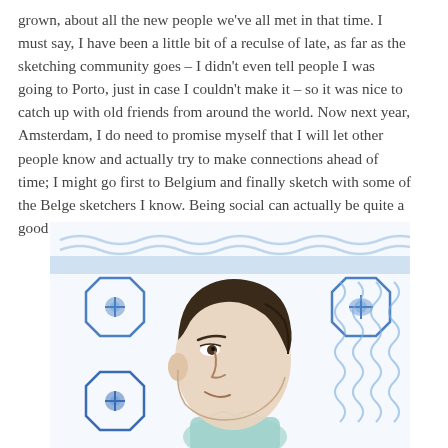grown, about all the new people we've all met in that time. I must say, I have been a little bit of a reculse of late, as far as the sketching community goes – I didn't even tell people I was going to Porto, just in case I couldn't make it – so it was nice to catch up with old friends from around the world. Now next year, Amsterdam, I do need to promise myself that I will let other people know and actually try to make connections ahead of time; I might go first to Belgium and finally sketch with some of the Belge sketchers I know. Being social can actually be quite a good thing.
[Figure (illustration): Watercolor and pencil illustration of a man's face in profile (side view, facing right), with dark hair. He is wearing a light teal/mint collared shirt. The background features blue and white decorative tile patterns (azulejo-style), with floral/geometric motifs in blue watercolor on white, and wavy blue lines on the right side.]